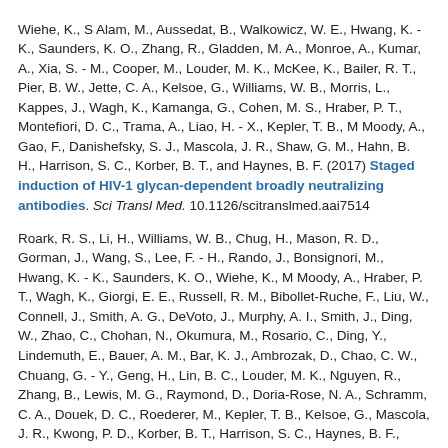Wiehe, K., S Alam, M., Aussedat, B., Walkowicz, W. E., Hwang, K. - K., Saunders, K. O., Zhang, R., Gladden, M. A., Monroe, A., Kumar, A., Xia, S. - M., Cooper, M., Louder, M. K., McKee, K., Bailer, R. T., Pier, B. W., Jette, C. A., Kelsoe, G., Williams, W. B., Morris, L., Kappes, J., Wagh, K., Kamanga, G., Cohen, M. S., Hraber, P. T., Montefiori, D. C., Trama, A., Liao, H. - X., Kepler, T. B., M Moody, A., Gao, F., Danishefsky, S. J., Mascola, J. R., Shaw, G. M., Hahn, B. H., Harrison, S. C., Korber, B. T., and Haynes, B. F. (2017) Staged induction of HIV-1 glycan-dependent broadly neutralizing antibodies. Sci Transl Med. 10.1126/scitranslmed.aai7514
Roark, R. S., Li, H., Williams, W. B., Chug, H., Mason, R. D., Gorman, J., Wang, S., Lee, F. - H., Rando, J., Bonsignori, M., Hwang, K. - K., Saunders, K. O., Wiehe, K., M Moody, A., Hraber, P. T., Wagh, K., Giorgi, E. E., Russell, R. M., Bibollet-Ruche, F., Liu, W., Connell, J., Smith, A. G., DeVoto, J., Murphy, A. I., Smith, J., Ding, W., Zhao, C., Chohan, N., Okumura, M., Rosario, C., Ding, Y., Lindemuth, E., Bauer, A. M., Bar, K. J., Ambrozak, D., Chao, C. W., Chuang, G. - Y., Geng, H., Lin, B. C., Louder, M. K., Nguyen, R., Zhang, B., Lewis, M. G., Raymond, D., Doria-Rose, N. A., Schramm, C. A., Douek, D. C., Roederer, M., Kepler, T. B., Kelsoe, G., Mascola, J. R., Kwong, P. D., Korber, B. T., Harrison, S. C., Haynes, B. F., Hahn, B. H., and Shaw, G. M. (2020) Recapitulation of HIV-1 Env-antibody coevolution